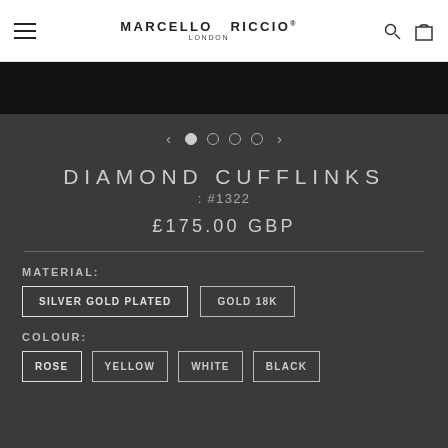MARCELLO RICCIO LONDON
[Figure (screenshot): Black image strip / product image area placeholder]
[Figure (other): Carousel navigation with 4 dots and left/right arrows]
DIAMOND CUFFLINKS
: #1322
£175.00 GBP
MATERIAL:
SILVER GOLD PLATED
GOLD 18K
COLOUR:
ROSE
YELLOW
WHITE
BLACK